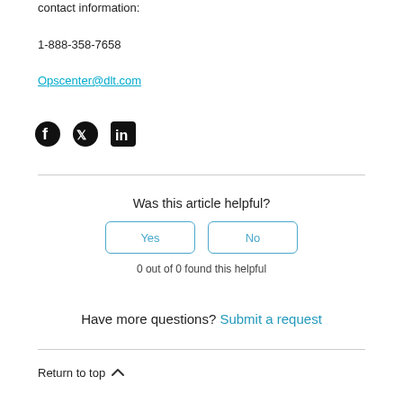contact information:
1-888-358-7658
Opscenter@dlt.com
[Figure (illustration): Social media icons: Facebook, Twitter, LinkedIn]
Was this article helpful?
Yes
No
0 out of 0 found this helpful
Have more questions? Submit a request
Return to top